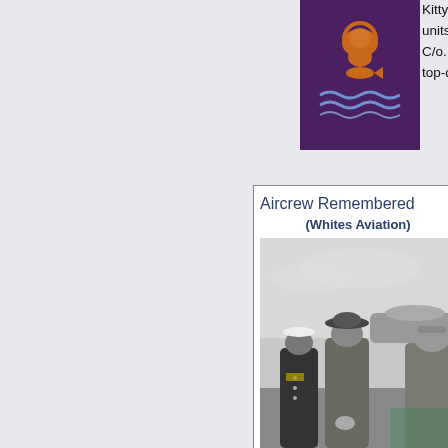[Figure (illustration): Military badge/emblem on dark purple background with orange lion and fish motif above blue waves]
Kittyhawks), then one each with units in Burma to study close-sup C/o. 19 squadron RNZAF May-Jul top-dressing at Putorino in Cessn
Aircrew Remembered (Whites Aviation)
[Figure (photo): Black and white photograph of several men in military and civilian attire standing and talking outdoors near an aircraft. One figure in naval uniform, others in suits and military caps.]